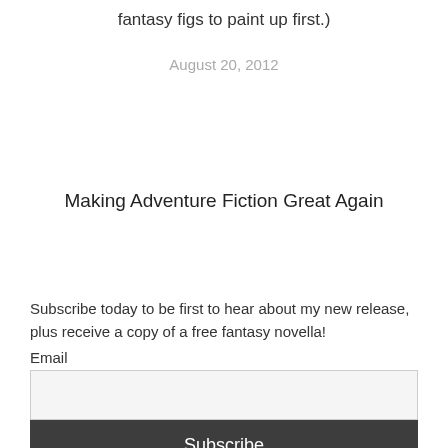fantasy figs to paint up first.)
August 20, 2012
Making Adventure Fiction Great Again
Subscribe today to be first to hear about my new release, plus receive a copy of a free fantasy novella!
Email